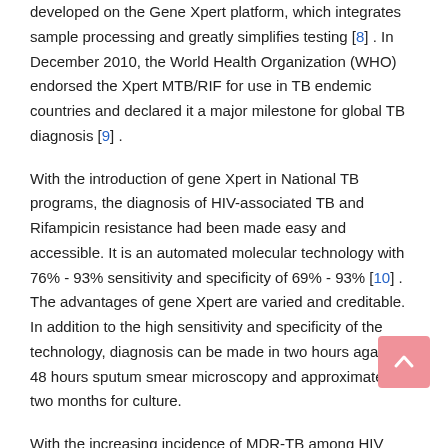developed on the Gene Xpert platform, which integrates sample processing and greatly simplifies testing [8] . In December 2010, the World Health Organization (WHO) endorsed the Xpert MTB/RIF for use in TB endemic countries and declared it a major milestone for global TB diagnosis [9] .
With the introduction of gene Xpert in National TB programs, the diagnosis of HIV-associated TB and Rifampicin resistance had been made easy and accessible. It is an automated molecular technology with 76% - 93% sensitivity and specificity of 69% - 93% [10] . The advantages of gene Xpert are varied and creditable. In addition to the high sensitivity and specificity of the technology, diagnosis can be made in two hours against 48 hours sputum smear microscopy and approximately two months for culture.
With the increasing incidence of MDR-TB among HIV patients and health care workers [11] , coupled with poor infection control